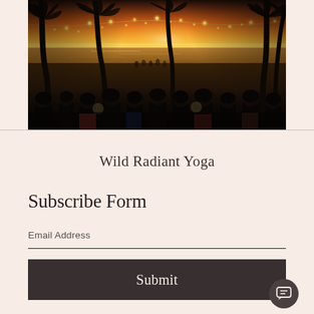[Figure (photo): Outdoor dinner event on a beach at sunset, with people seated at tables under string lights and palm trees silhouetted against an orange and golden sky, ocean visible in the background]
Wild Radiant Yoga
Subscribe Form
Email Address
Submit